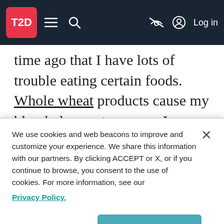T2D [navigation bar with logo, menu, search, and Log in]
time ago that I have lots of trouble eating certain foods. Whole wheat products cause my blood glucose to soar so I no longer eat them because it's just not worth it. Potato chips? No way. Even though “they” say that I should be able to eat potato chips in moderation, I know better. I mean, have
We use cookies and web beacons to improve and customize your experience. We share this information with our partners. By clicking ACCEPT or X, or if you continue to browse, you consent to the use of cookies. For more information, see our Privacy Policy.
Manage Cookies
Accept Cookies